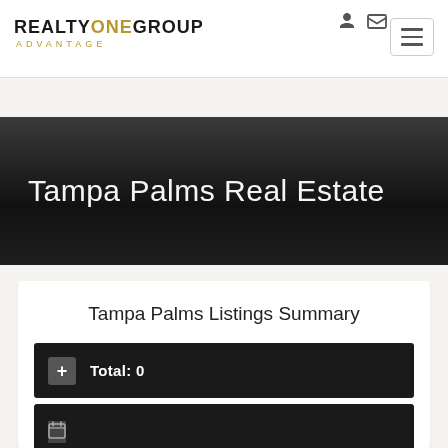[Figure (logo): Realty One Group Advantage logo — REALTY in black, ONE in gold, GROUP in black, ADVANTAGE in gold smaller text below]
Tampa Palms Real Estate
Tampa Palms Listings Summary
Total: 0